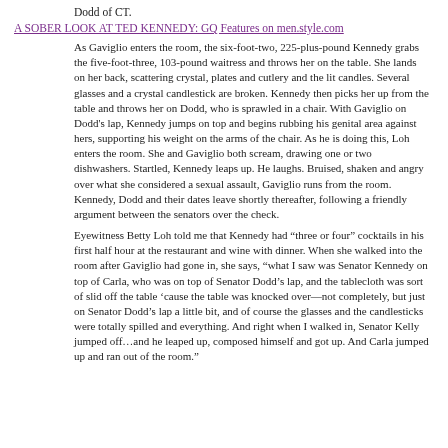Dodd of CT.
A SOBER LOOK AT TED KENNEDY: GQ Features on men.style.com
As Gaviglio enters the room, the six-foot-two, 225-plus-pound Kennedy grabs the five-foot-three, 103-pound waitress and throws her on the table. She lands on her back, scattering crystal, plates and cutlery and the lit candles. Several glasses and a crystal candlestick are broken. Kennedy then picks her up from the table and throws her on Dodd, who is sprawled in a chair. With Gaviglio on Dodd’s lap, Kennedy jumps on top and begins rubbing his genital area against hers, supporting his weight on the arms of the chair. As he is doing this, Loh enters the room. She and Gaviglio both scream, drawing one or two dishwashers. Startled, Kennedy leaps up. He laughs. Bruised, shaken and angry over what she considered a sexual assault, Gaviglio runs from the room. Kennedy, Dodd and their dates leave shortly thereafter, following a friendly argument between the senators over the check.
Eyewitness Betty Loh told me that Kennedy had “three or four” cocktails in his first half hour at the restaurant and wine with dinner. When she walked into the room after Gaviglio had gone in, she says, “what I saw was Senator Kennedy on top of Carla, who was on top of Senator Dodd’s lap, and the tablecloth was sort of slid off the table ‘cause the table was knocked over—not completely, but just on Senator Dodd’s lap a little bit, and of course the glasses and the candlesticks were totally spilled and everything. And right when I walked in, Senator Kelly jumped off…and he leaped up, composed himself and got up. And Carla jumped up and ran out of the room.”